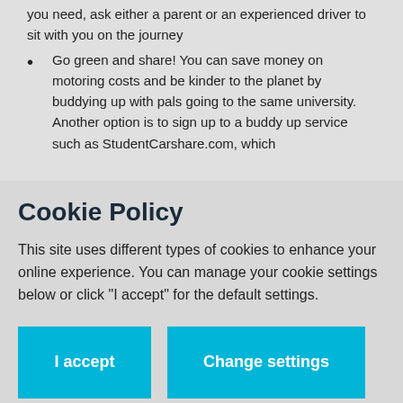you need, ask either a parent or an experienced driver to sit with you on the journey
Go green and share! You can save money on motoring costs and be kinder to the planet by buddying up with pals going to the same university. Another option is to sign up to a buddy up service such as StudentCarshare.com, which
Cookie Policy
This site uses different types of cookies to enhance your online experience. You can manage your cookie settings below or click "I accept" for the default settings.
I accept
Change settings